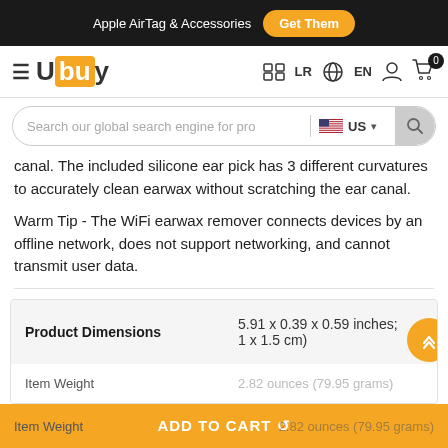Apple AirTag & Accessories  Get Them
Ubuy  LR  EN  0
Search our global search engine for pro  US
canal. The included silicone ear pick has 3 different curvatures to accurately clean earwax without scratching the ear canal.
Warm Tip - The WiFi earwax remover connects devices by an offline network, does not support networking, and cannot transmit user data.
|  |  |
| --- | --- |
| Product Dimensions | 5.91 x 0.39 x 0.59 inches; 1 x 1.5 cm) |
| Item Weight | 2.82 ounces (79.95 grams) |